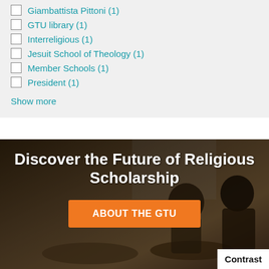Giambattista Pittoni (1)
GTU library (1)
Interreligious (1)
Jesuit School of Theology (1)
Member Schools (1)
President (1)
Show more
[Figure (photo): Students studying in a library or classroom setting, two people visible, warm tones with natural light from a window.]
Discover the Future of Religious Scholarship
ABOUT THE GTU
Contrast